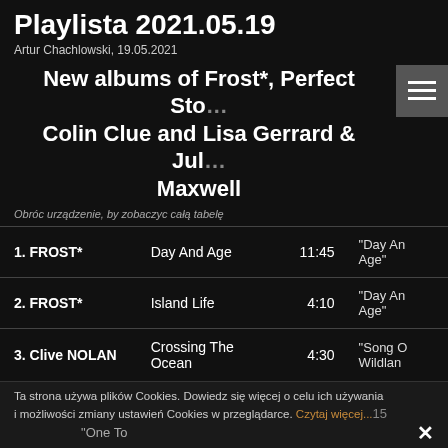Playlista 2021.05.19
Artur Chachlowski, 19.05.2021
New albums of Frost*, Perfect Sto... Colin Clue and Lisa Gerrard & Jules Maxwell
Obróc urządzenie, by zobaczyc całą tabelę
| #. Artist | Track | Time | Album |
| --- | --- | --- | --- |
| 1. FROST* | Day And Age | 11:45 | "Day And Age" |
| 2. FROST* | Island Life | 4:10 | "Day And Age" |
| 3. Clive NOLAN | Crossing The Ocean | 4:30 | "Song O... Wildlan..." |
| 4. ... | ... | ...15 | "One To..." |
| 5. Colin CLUE | You | 3:40 | ... |
Ta strona używa plików Cookies. Dowiedz się więcej o celu ich używania i możliwości zmiany ustawień Cookies w przeglądarce. Czytaj więcej...